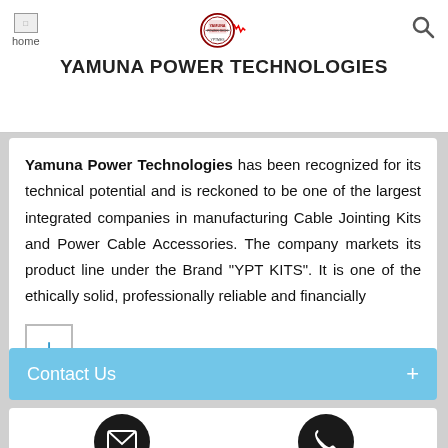YAMUNA POWER TECHNOLOGIES
Yamuna Power Technologies has been recognized for its technical potential and is reckoned to be one of the largest integrated companies in manufacturing Cable Jointing Kits and Power Cable Accessories. The company markets its product line under the Brand "YPT KITS". It is one of the ethically solid, professionally reliable and financially
Contact Us
Send Inquiry
Call Me Free